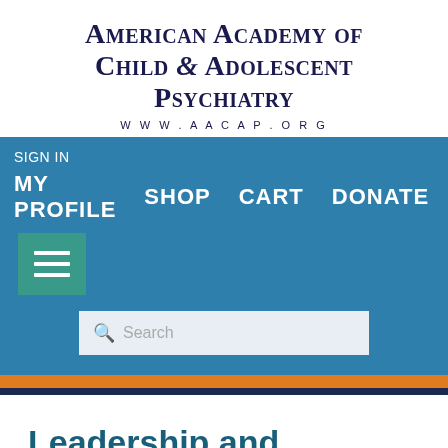[Figure (logo): American Academy of Child & Adolescent Psychiatry logo with text and website URL www.aacap.org]
SIGN IN
MY PROFILE   SHOP   CART   DONATE
[Figure (screenshot): Hamburger menu button (three horizontal lines) on teal background]
Search
Leadership and Advocacy